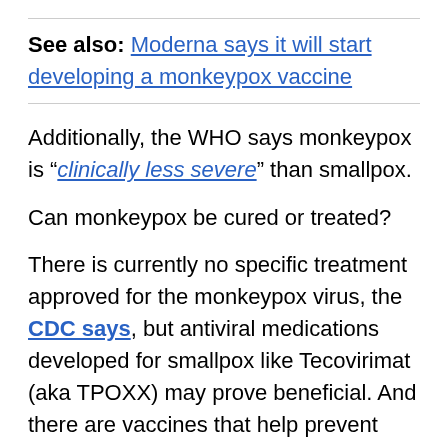See also: Moderna says it will start developing a monkeypox vaccine
Additionally, the WHO says monkeypox is "clinically less severe" than smallpox.
Can monkeypox be cured or treated?
There is currently no specific treatment approved for the monkeypox virus, the CDC says, but antiviral medications developed for smallpox like Tecovirimat (aka TPOXX) may prove beneficial. And there are vaccines that help prevent monkeypox infections.